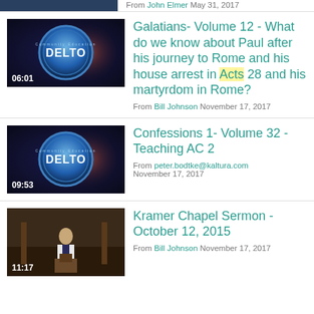[Figure (screenshot): Partially visible video thumbnail at top of page]
From John Elmer May 31, 2017
[Figure (screenshot): DELTO logo video thumbnail with duration 06:01]
Galatians- Volume 12 - What do we know about Paul after his journey to Rome and his house arrest in Acts 28 and his martyrdom in Rome?
From Bill Johnson November 17, 2017
[Figure (screenshot): DELTO logo video thumbnail with duration 09:53]
Confessions 1- Volume 32 - Teaching AC 2
From peter.bodtke@kaltura.com November 17, 2017
[Figure (photo): Person standing at podium in chapel, video thumbnail with duration 11:17]
Kramer Chapel Sermon - October 12, 2015
From Bill Johnson November 17, 2017